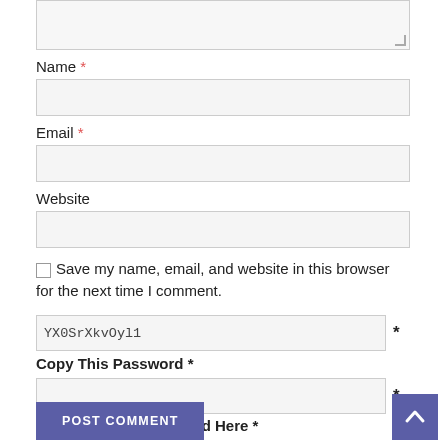[Figure (screenshot): Top portion of a textarea input field (partially cut off at top of page)]
Name *
[Figure (screenshot): Empty text input field for Name]
Email *
[Figure (screenshot): Empty text input field for Email]
Website
[Figure (screenshot): Empty text input field for Website]
Save my name, email, and website in this browser for the next time I comment.
YX0SrXkvOyl1 *
Copy This Password *
Type Or Paste Password Here *
POST COMMENT